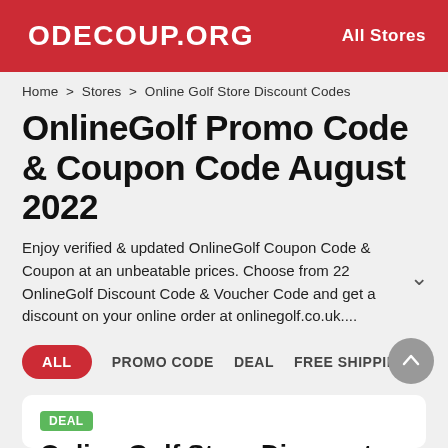ODECOUP.ORG | All Stores
Home > Stores > Online Golf Store Discount Codes
OnlineGolf Promo Code & Coupon Code August 2022
Enjoy verified & updated OnlineGolf Coupon Code & Coupon at an unbeatable prices. Choose from 22 OnlineGolf Discount Code & Voucher Code and get a discount on your online order at onlinegolf.co.uk....
ALL   PROMO CODE   DEAL   FREE SHIPPING
DEAL
Online Golf Store Discount Codes